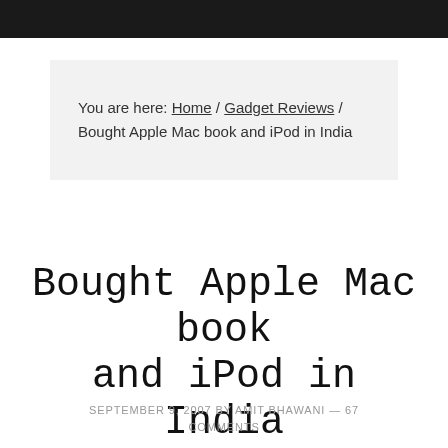You are here: Home / Gadget Reviews / Bought Apple Mac book and iPod in India
Bought Apple Mac book and iPod in India
SEPTEMBER 9, 2007 BY AMIT BHAWANI — 67 COMMENTS